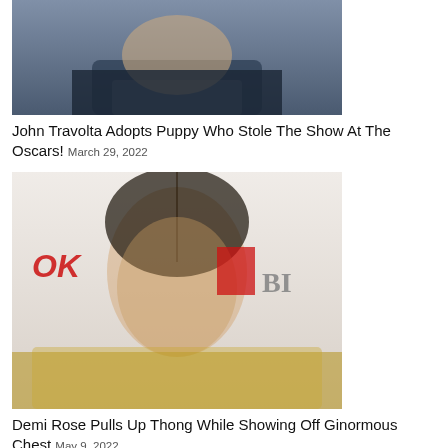[Figure (photo): Cropped photo of a man in a dark suit, showing chin/neck area only, against a blurred background]
John Travolta Adopts Puppy Who Stole The Show At The Oscars! March 29, 2022
[Figure (photo): Photo of Demi Rose at what appears to be a red carpet event, wearing a gold/metallic outfit with logos 'OK' and 'BI' visible in the background]
Demi Rose Pulls Up Thong While Showing Off Ginormous Chest May 9, 2022